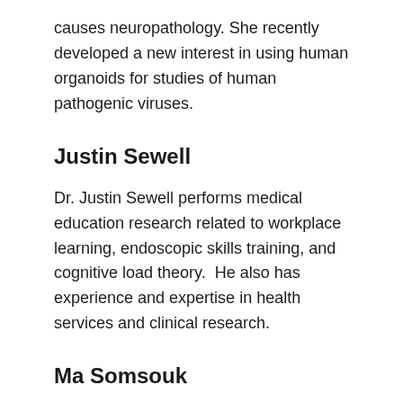causes neuropathology. She recently developed a new interest in using human organoids for studies of human pathogenic viruses.
Justin Sewell
Dr. Justin Sewell performs medical education research related to workplace learning, endoscopic skills training, and cognitive load theory.  He also has experience and expertise in health services and clinical research.
Ma Somsouk
Dr. Somsouk's research program embraces health information system and technology to develop effective and economical solutions that improve